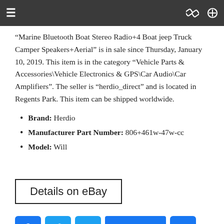Navigation bar
“Marine Bluetooth Boat Stereo Radio+4 Boat jeep Truck Camper Speakers+Aerial” is in sale since Thursday, January 10, 2019. This item is in the category “Vehicle Parts & Accessories\Vehicle Electronics & GPS\Car Audio\Car Amplifiers”. The seller is “herdio_direct” and is located in Regents Park. This item can be shipped worldwide.
Brand: Herdio
Manufacturer Part Number: 806+461w-47w-cc
Model: Will
Details on eBay
[Figure (other): Social sharing buttons: Facebook, Twitter, Email, Like 0, and a plus/share button]